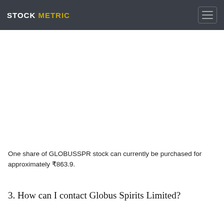STOCK METRIC
One share of GLOBUSSPR stock can currently be purchased for approximately ₹863.9.
3. How can I contact Globus Spirits Limited?